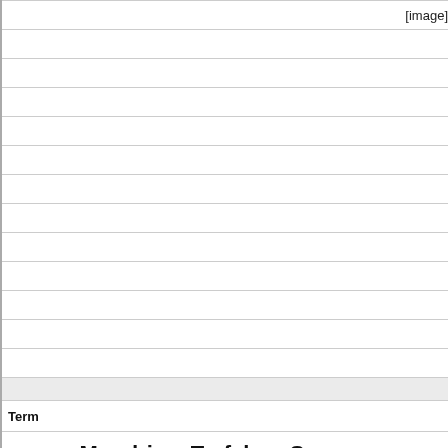[Figure (other): [image] placeholder in top-right area of table row]
| Term |
| --- |
| Mondrian, Trafalgar Square, |